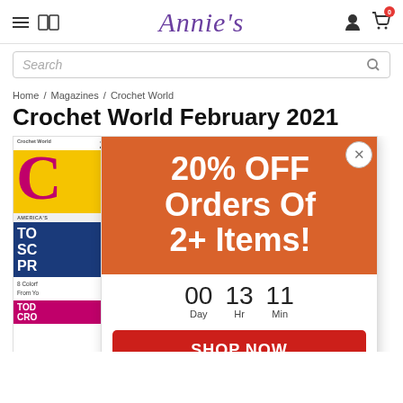Annie's — navigation header with hamburger menu, book icon, logo, user icon, cart icon (badge: 0)
Search
Home / Magazines / Crochet World
Crochet World February 2021
[Figure (screenshot): Annie's website screenshot showing a promotional popup with '20% OFF Orders Of 2+ Items!' in white text on an orange background, a countdown timer showing 00 Day, 13 Hr, 11 Min, and a red 'SHOP NOW' button. Behind the popup is a partially visible Crochet World magazine cover.]